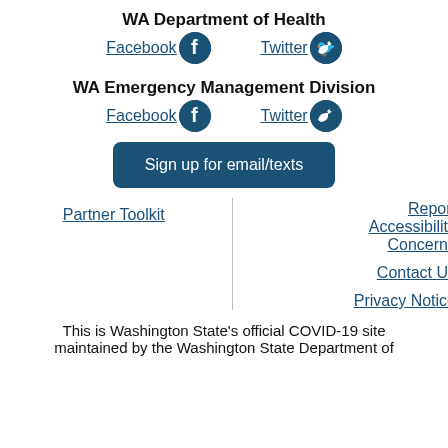WA Department of Health
Facebook [icon] Twitter [icon]
WA Emergency Management Division
Facebook [icon] Twitter [icon]
Sign up for email/texts
Partner Toolkit
Report Accessibility Concerns
Contact Us
Privacy Notice
This is Washington State's official COVID-19 site maintained by the Washington State Department of